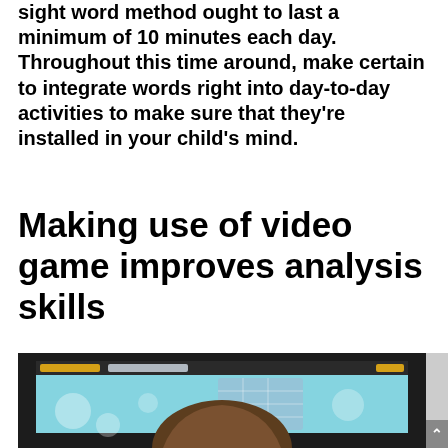sight word method ought to last a minimum of 10 minutes each day. Throughout this time around, make certain to integrate words right into day-to-day activities to make sure that they're installed in your child's mind.
Making use of video game improves analysis skills
[Figure (photo): A child seen from behind looking at a tablet or computer screen displaying a colorful educational game interface.]